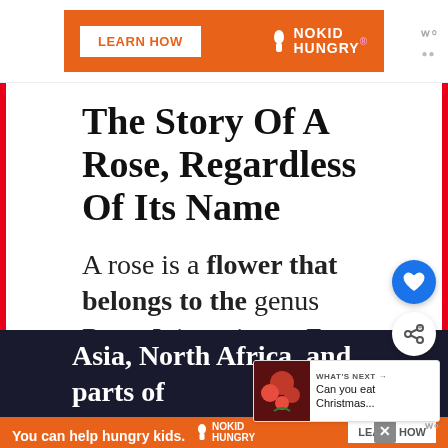[Figure (screenshot): Orange ad banner at top reading LEARN HOW with No Kid Hungry logo]
The Story Of A Rose, Regardless Of Its Name
A rose is a flower that belongs to the genus Rosa. It is native to Eu...
[Figure (screenshot): Floating heart/like button (blue circle) and share button (white circle)]
[Figure (screenshot): What's Next panel with rose image and text: Can you eat Christmas...]
Asia, North Africa, and parts of
[Figure (screenshot): Bottom orange ad banner: You can help hungry kids. No Kid Hungry. LEARN HOW]